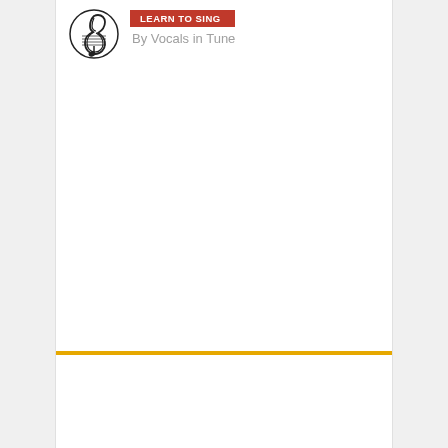[Figure (logo): Treble clef music note logo in black and white]
LEARN TO SING
By Vocals in Tune